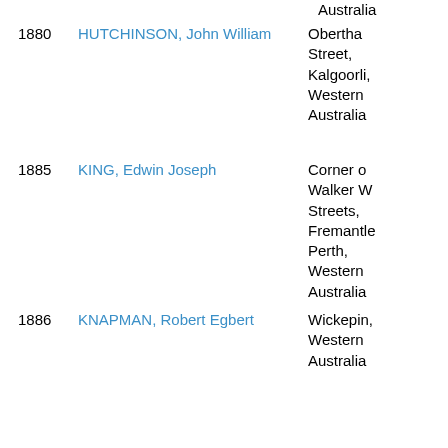1880 HUTCHINSON, John William — Obertha Street, Kalgoorli, Western Australia
1885 KING, Edwin Joseph — Corner of Walker W Streets, Fremantle, Perth, Western Australia
1886 KNAPMAN, Robert Egbert — Wickepin, Western Australia
1887 LARKE, Harold — Nambadi via Corrig, Western Australia
1954 LINTOTT, Arthur Newton — Collie, Western Australia